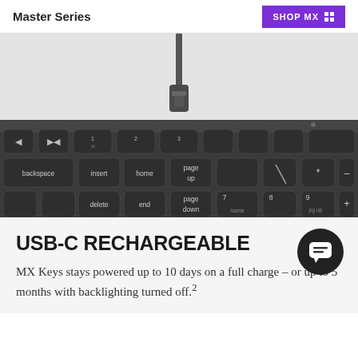Master Series
SHOP MX
[Figure (photo): Close-up product photo of a Logitech MX Keys keyboard in graphite/dark grey color, showing the top-right section of the keyboard with function keys including backspace, insert, home, page up, delete, end, page down, and numpad keys. A USB-C cable is shown hanging above the keyboard, connecting to the charging port.]
USB-C RECHARGEABLE
MX Keys stays powered up to 10 days on a full charge – or up to 5 months with backlighting turned off.²